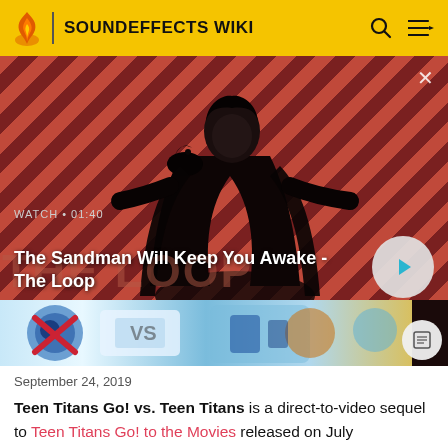SOUNDEFFECTS WIKI
[Figure (screenshot): Video thumbnail showing The Sandman figure in black coat with raven on shoulder against red diagonal stripe background. Overlay text reads WATCH • 01:40 and The Sandman Will Keep You Awake - The Loop. Play button visible. Bottom strip shows animated cartoon characters (Teen Titans Go! vs. Teen Titans promotional art).]
September 24, 2019
Teen Titans Go! vs. Teen Titans is a direct-to-video sequel to Teen Titans Go! to the Movies released on July